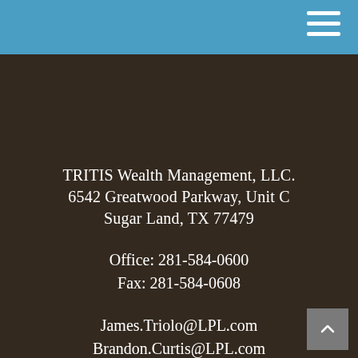TRITIS Wealth Management, LLC.
6542 Greatwood Parkway, Unit C
Sugar Land, TX 77479
Office: 281-584-0600
Fax: 281-584-0608
James.Triolo@LPL.com
Brandon.Curtis@LPL.com